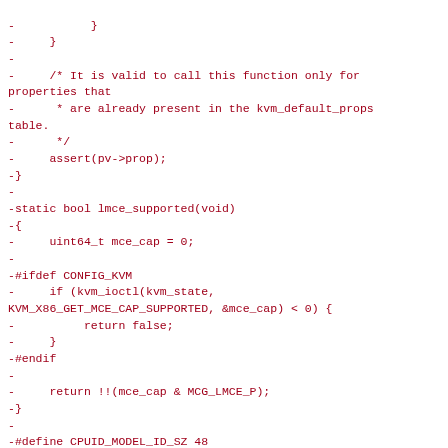-           }
-     }
-
-     /* It is valid to call this function only for properties that
-      * are already present in the kvm_default_props table.
-      */
-     assert(pv->prop);
-}
-
-static bool lmce_supported(void)
-{
-     uint64_t mce_cap = 0;
-
-#ifdef CONFIG_KVM
-     if (kvm_ioctl(kvm_state, KVM_X86_GET_MCE_CAP_SUPPORTED, &mce_cap) < 0) {
-          return false;
-     }
-#endif
-
-     return !!(mce_cap & MCG_LMCE_P);
-}
-
-#define CPUID_MODEL_ID_SZ 48
-
-/**
- * cpu_x86_fill_model_id:
- * Get CPUID model ID string from host CPU